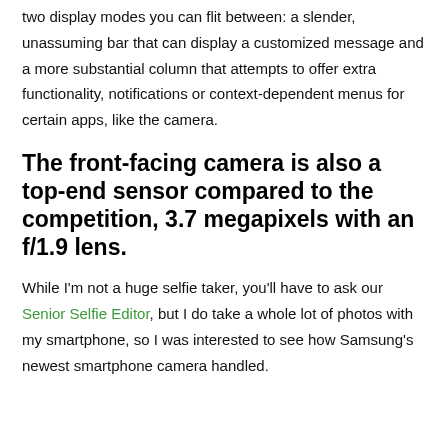two display modes you can flit between: a slender, unassuming bar that can display a customized message and a more substantial column that attempts to offer extra functionality, notifications or context-dependent menus for certain apps, like the camera.
The front-facing camera is also a top-end sensor compared to the competition, 3.7 megapixels with an f/1.9 lens.
While I'm not a huge selfie taker, you'll have to ask our Senior Selfie Editor, but I do take a whole lot of photos with my smartphone, so I was interested to see how Samsung's newest smartphone camera handled.